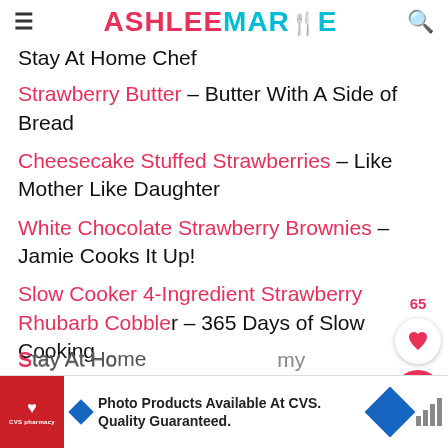ASHLEE MARIE
Stay At Home Chef
Strawberry Butter – Butter With A Side of Bread
Cheesecake Stuffed Strawberries – Like Mother Like Daughter
White Chocolate Strawberry Brownies – Jamie Cooks It Up!
Slow Cooker 4-Ingredient Strawberry Rhubarb Cobbler – 365 Days of Slow Cooking
[Figure (screenshot): CVS Pharmacy advertisement banner: Photo Products Available At CVS. Quality Guaranteed.]